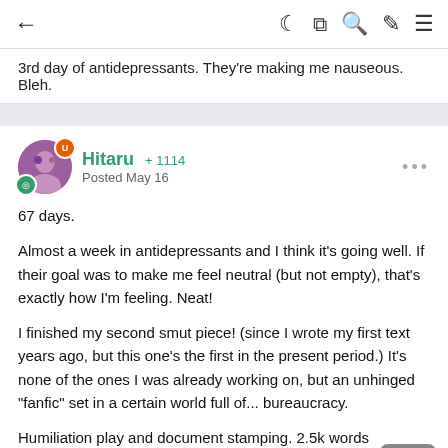← (back arrow) | (moon icon) (grid icon) (search icon) (brush icon) (menu icon)
3rd day of antidepressants. They're making me nauseous. Bleh.
Hitaru +1114 Posted May 16
67 days.
Almost a week in antidepressants and I think it's going well. If their goal was to make me feel neutral (but not empty), that's exactly how I'm feeling. Neat!
I finished my second smut piece! (since I wrote my first text years ago, but this one's the first in the present period.) It's none of the ones I was already working on, but an unhinged "fanfic" set in a certain world full of... bureaucracy.
Humiliation play and document stamping. 2.5k words voluntarily crunched in less than 48 hours. I know, I'm amazing.